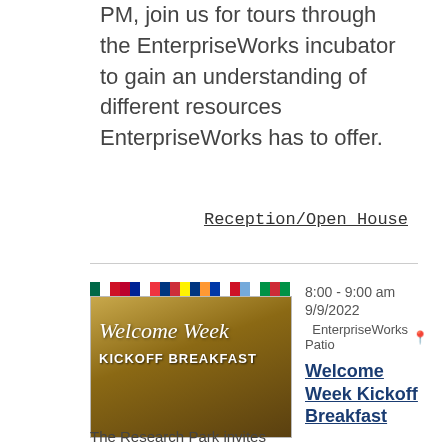PM, join us for tours through the EnterpriseWorks incubator to gain an understanding of different resources EnterpriseWorks has to offer.
Reception/Open House
[Figure (photo): Welcome Week Kickoff Breakfast event image with flag bar across top and stylized script text on warm golden-brown background]
8:00 - 9:00 am
9/9/2022
EnterpriseWorks Patio
Welcome Week Kickoff Breakfast
The Research Park invites the community to kick off Wel...